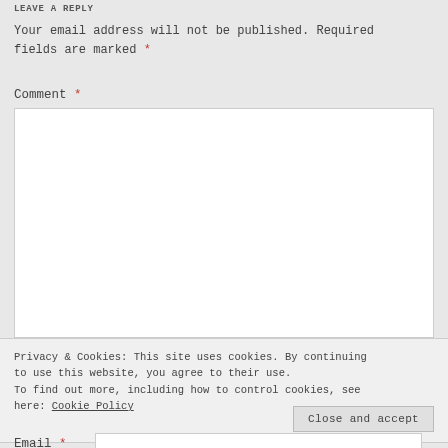LEAVE A REPLY
Your email address will not be published. Required fields are marked *
Comment *
[Figure (other): Empty comment text area input box with white background and border]
Privacy & Cookies: This site uses cookies. By continuing to use this website, you agree to their use. To find out more, including how to control cookies, see here: Cookie Policy
Close and accept
Email *